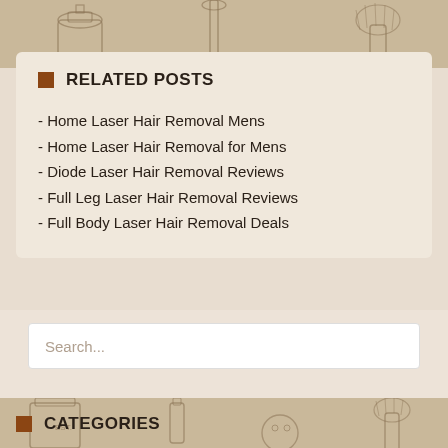[Figure (illustration): Vintage sepia-toned illustration of shaving/grooming items including a bottle, brush, and razor at the top of the page]
RELATED POSTS
- Home Laser Hair Removal Mens
- Home Laser Hair Removal for Mens
- Diode Laser Hair Removal Reviews
- Full Leg Laser Hair Removal Reviews
- Full Body Laser Hair Removal Deals
Search...
[Figure (illustration): Vintage sepia-toned illustration of grooming items including jars, bottles and a brush at the bottom of the page]
CATEGORIES